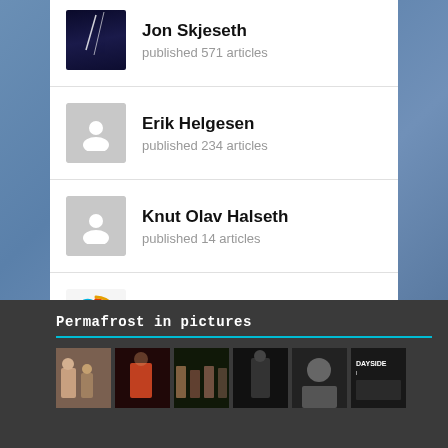Jon Skjeseth
published 571 articles
Erik Helgesen
published 234 articles
Knut Olav Halseth
published 14 articles
permafrost
published 5 articles
Permafrost in pictures
[Figure (photo): Row of thumbnail photos in the Permafrost in pictures section]